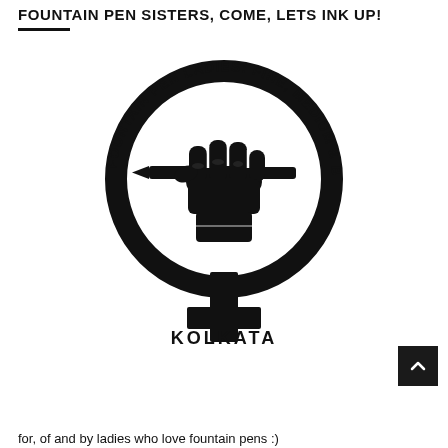FOUNTAIN PEN SISTERS, COME, LETS INK UP!
[Figure (logo): Circular logo for 'Fountain Pen Ladies: Fine, Medium & Broad – Kolkata'. Features a raised fist holding a fountain pen, combined with the female symbol (circle with cross), all in black on white. Text arcs around the top of the circle reading 'FOUNTAIN PEN LADIES: FINE, MEDIUM & BROAD' and 'KOLKATA' appears below.]
for, of and by ladies who love fountain pens :)